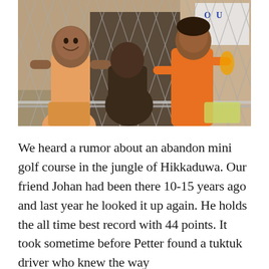[Figure (photo): Children smiling behind a chain-link fence. One child in orange/yellow top on the left, another child in the center background, and a child in orange clothing on the right. A partially visible sign is in the upper right corner.]
We heard a rumor about an abandon mini golf course in the jungle of Hikkaduwa. Our friend Johan had been there 10-15 years ago and last year he looked it up again. He holds the all time best record with 44 points. It took sometime before Petter found a tuktuk driver who knew the way